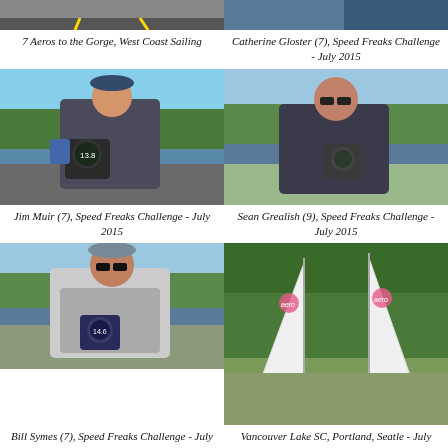[Figure (photo): Partial cropped photo top-left, road with yellow lines visible]
[Figure (photo): Partial cropped photo top-right, person in sailing gear]
7 Aeros to the Gorge, West Coast Sailing
Catherine Gloster (7), Speed Freaks Challenge - July 2015
[Figure (photo): Jim Muir holding a GPS speed device showing 13.8, wearing wetsuit gear, lake/forest background]
[Figure (photo): Sean Grealish holding a GPS speed device, wearing wetsuit gear, lake/forest background]
Jim Muir (7), Speed Freaks Challenge - July 2015
Sean Grealish (9), Speed Freaks Challenge - July 2015
[Figure (photo): Bill Symes holding a GPS speed device showing 14.6, wearing zhik wetsuit gear, smiling]
[Figure (photo): Two RS Aero sailboats with pink/red aero logos on sails, parked on grass, trees in background - Vancouver Lake SC Portland]
Bill Symes (7), Speed Freaks Challenge - July 2015
Vancouver Lake SC, Portland, Seatle - July 2015